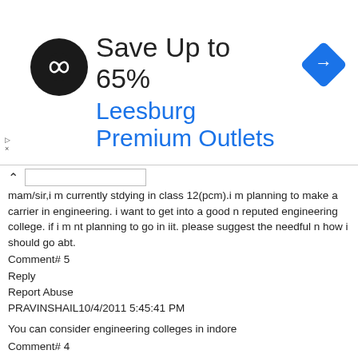[Figure (infographic): Advertisement banner: Save Up to 65% at Leesburg Premium Outlets, with a circular logo on the left and a blue diamond arrow icon on the right]
mam/sir,i m currently stdying in class 12(pcm).i m planning to make a carrier in engineering. i want to get into a good n reputed engineering college. if i m nt planning to go in iit. please suggest the needful n how i should go abt.
Comment# 5
Reply
Report Abuse
PRAVINSHAIL10/4/2011 5:45:41 PM
You can consider engineering colleges in indore
Comment# 4
Reply
Report Abuse
Mishvaa9/30/2011 5:10:10 PM
This is what I most enjoy about this website. You keep on being yourself, but you never avoid understanding the real needs of students, you place yourself in their shoes, you help them cope with every educational challenge, big step or opportunity. You support students through great exams, you give them the best tips about where and how to get the right materials for study, about those who sell books online and how to develop time management skills in order to be safe from...